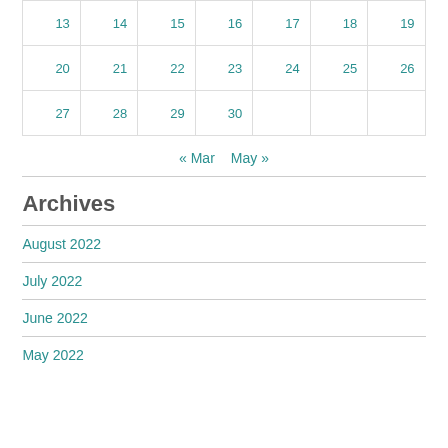| 13 | 14 | 15 | 16 | 17 | 18 | 19 |
| 20 | 21 | 22 | 23 | 24 | 25 | 26 |
| 27 | 28 | 29 | 30 |  |  |  |
« Mar   May »
Archives
August 2022
July 2022
June 2022
May 2022